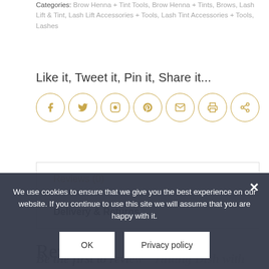Categories: Brow Henna + Tint Tools, Brow Henna + Tints, Brows, Lash Lift & Tint, Lash Lift Accessories + Tools, Lash Tint Accessories + Tools, Lashes
Like it, Tweet it, Pin it, Share it...
[Figure (infographic): Row of 7 social sharing icon circles (Facebook, Twitter, Instagram, Pinterest, Email, Print, Share) with gold borders and gold icons]
| Reviews (0) |
| Delivery & Returns |
Reviews
Be the first to review "Tinting Dish with Lid"
We use cookies to ensure that we give you the best experience on our website. If you continue to use this site we will assume that you are happy with it.